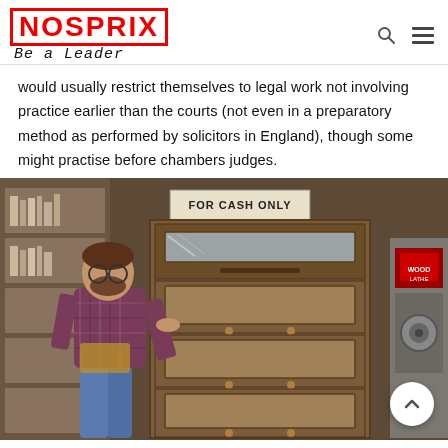NOSPRIX | Be a Leader
would usually restrict themselves to legal work not involving practice earlier than the courts (not even in a preparatory method as performed by solicitors in England), though some might practise before chambers judges.
[Figure (photo): A man in a plaid shirt and work apron standing next to a wooden barrister bookcase with glass-front shelving sections, in a workshop setting. A sign reading 'FOR CASH ONLY' is visible in the background.]